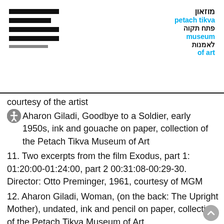[Figure (logo): Hamburger menu icon with 5 horizontal lines of varying widths, black and grey]
[Figure (logo): Petach Tikva Museum of Art logo with Hebrew and English text in black and cyan blue]
courtesy of the artist
Aharon Giladi, Goodbye to a Soldier, early 1950s, ink and gouache on paper, collection of the Petach Tikva Museum of Art
11. Two excerpts from the film Exodus, part 1: 01:20:00-01:24:00, part 2 00:31:08-00:29-30. Director: Otto Preminger, 1961, courtesy of MGM
12. Aharon Giladi, Woman, (on the back: The Upright Mother), undated, ink and pencil on paper, collection of the Petach Tikva Museum of Art
13. Israel Paldi, Independence, late-1940s, oil on canvas, collection of the Petach Tikva Museum of Art
14. (At the center) Hagar Shapira, Superwoman, 2014. installation: skirt construction, fan, wooden block, grip